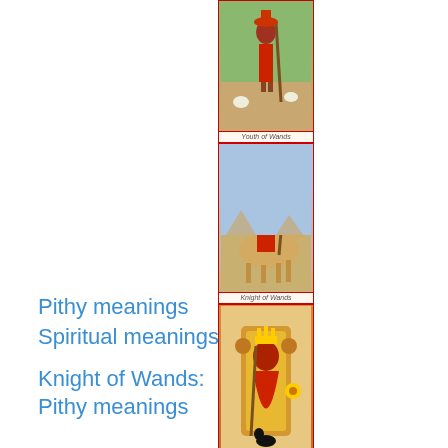[Figure (illustration): Vertical strip of four tarot cards: Youth of Wands, Knight of Wands, Queen of Wands, King of Wands]
Pithy meanings
Spiritual meanings
Knight of Wands:
Pithy meanings